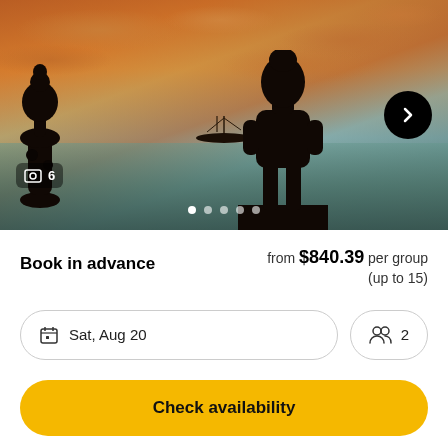[Figure (photo): Scenic sunset photo with two Polynesian/Easter Island statue silhouettes on a dock, a sailing boat on calm water, dramatic orange and red cloudy sky]
6 (image count indicator)
Book in advance
from $840.39 per group (up to 15)
Sat, Aug 20
2
Check availability